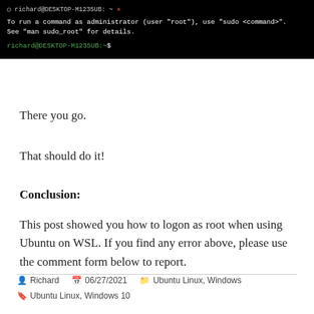[Figure (screenshot): Terminal window showing Ubuntu WSL prompt. Tab bar shows 'richard@DESKTOP-M1235UB: ~'. Terminal text: 'To run a command as administrator (user "root"), use "sudo <command>". See "man sudo_root" for details.' followed by green prompt 'richard@DESKTOP-M1235UB:~$']
There you go.
That should do it!
Conclusion:
This post showed you how to logon as root when using Ubuntu on WSL. If you find any error above, please use the comment form below to report.
Richard  06/27/2021  Ubuntu Linux, Windows  Ubuntu Linux, Windows 10